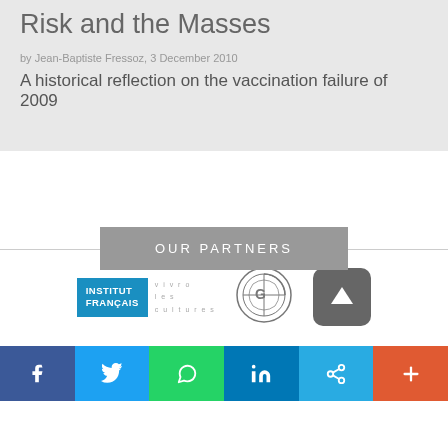Risk and the Masses
by Jean-Baptiste Fressoz, 3 December 2010
A historical reflection on the vaccination failure of 2009
OUR PARTNERS
[Figure (logo): Institut Français vivro les cultures logo]
[Figure (logo): Circular GE-style logo]
[Figure (other): Scroll to top button with upward arrow]
Social sharing bar: Facebook, Twitter, WhatsApp, LinkedIn, Link, More